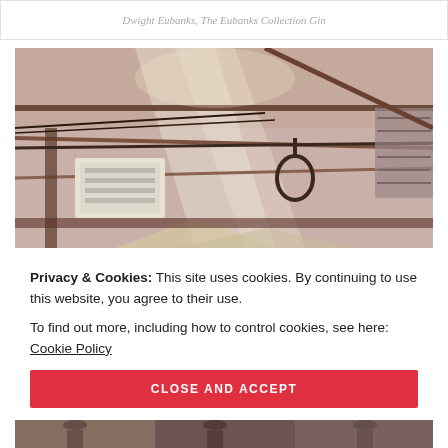Dwight Eubanks, The Eubanks Collection Gin
[Figure (photo): Industrial interior ceiling photo showing steel beams, HVAC units, and warehouse structure with warm tinted lighting]
Privacy & Cookies: This site uses cookies. By continuing to use this website, you agree to their use.
To find out more, including how to control cookies, see here: Cookie Policy
CLOSE AND ACCEPT
[Figure (photo): Bottom partial photo strip showing people]